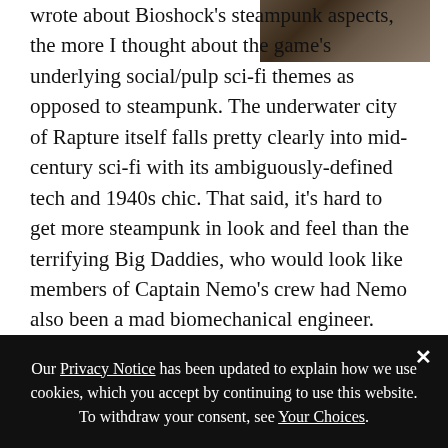[Figure (photo): Partial image in top-right corner, appears to show a dark, atmospheric scene possibly from the game Bioshock]
wrote about Bioshock's steampunk aspects, the more I thought about the game's underlying social/pulp sci-fi themes as opposed to steampunk. The underwater city of Rapture itself falls pretty clearly into mid-century sci-fi with its ambiguously-defined tech and 1940s chic. That said, it's hard to get more steampunk in look and feel than the terrifying Big Daddies, who would look like members of Captain Nemo's crew had Nemo also been a mad biomechanical engineer. The plot, ultimately focused around the fear of unregulated scientific achievement, is straight out of mid-century social sci-fi, but it's not hard to see the city of Rapture, or least what it had
Our Privacy Notice has been updated to explain how we use cookies, which you accept by continuing to use this website. To withdraw your consent, see Your Choices.